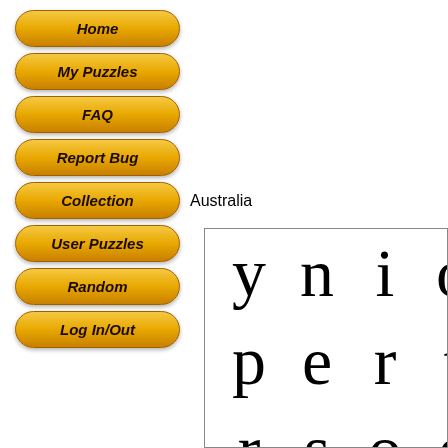Home
My Puzzles
FAQ
Report Bug
Collection
User Puzzles
Random
Log In/Out
Australia
[Figure (other): Word search puzzle grid showing large letters: row1: y n i o a l r c, row2: p e r t h m i n, row3: r s o e h g s t, row4: y a n b k e l h, row5: g g g w a i t e]